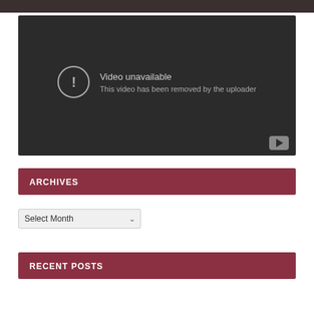[Figure (screenshot): Video unavailable placeholder from YouTube embed. Dark grey background with circular exclamation icon. Text reads 'Video unavailable' and 'This video has been removed by the uploader'. YouTube logo in bottom-right corner.]
ARCHIVES
Select Month
RECENT POSTS